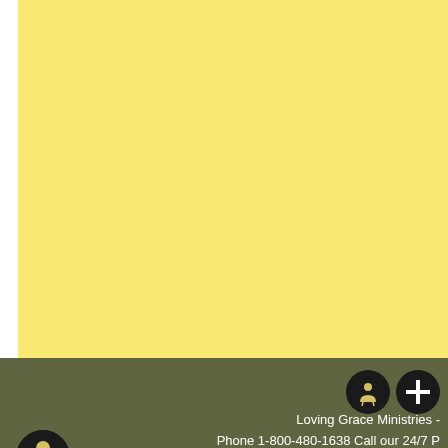[Figure (illustration): Large yellow background panel taking up most of the page]
Loving Grace Ministries - Phone 1-800-480-1638 Call our 24/7 P... email: lov...